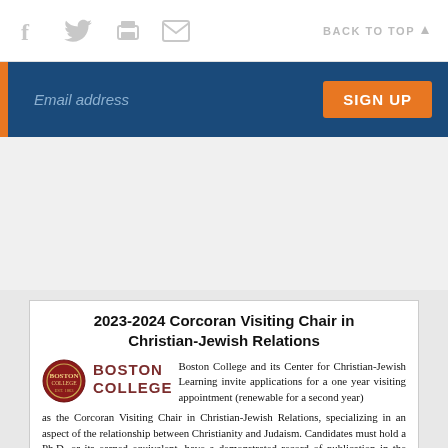Social icons (facebook, twitter, print, email) | BACK TO TOP
[Figure (other): Email address signup banner with blue background, email input field, and orange SIGN UP button]
2023-2024 Corcoran Visiting Chair in Christian-Jewish Relations
Boston College and its Center for Christian-Jewish Learning invite applications for a one year visiting appointment (renewable for a second year) as the Corcoran Visiting Chair in Christian-Jewish Relations, specializing in an aspect of the relationship between Christianity and Judaism. Candidates must hold a Ph.D. or its earned equivalent, have a demonstrated record of publication in the field, and hold (or have retired from) a tenured position (or its equivalent) in a university or seminary. Applications from all relevant diisciplines are welcome. The Corcoran Chair will agree to take on specific responsibilities related to the mission of the Center. The full description is available at www.bc.edu/cjlearning. A list of previous Chairs, and their conferences and courses during their tenures, is also available online.